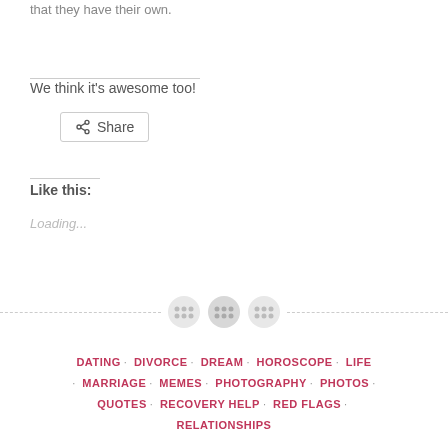that they have their own.
We think it's awesome too!
[Figure (other): Share button with share icon]
Like this:
Loading...
[Figure (other): Horizontal dashed divider with three button/circle icons in the center]
DATING · DIVORCE · DREAM · HOROSCOPE · LIFE · MARRIAGE · MEMES · PHOTOGRAPHY · PHOTOS · QUOTES · RECOVERY HELP · RED FLAGS · RELATIONSHIPS